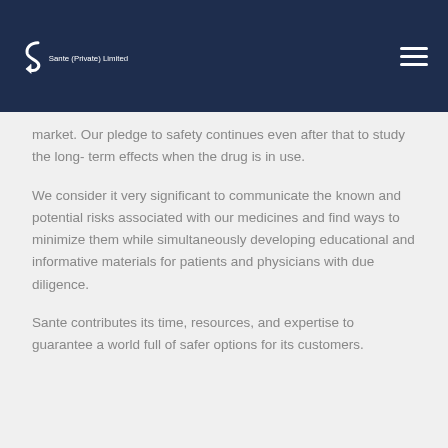Sante (Private) Limited
market. Our pledge to safety continues even after that to study the long- term effects when the drug is in use.
We consider it very significant to communicate the known and potential risks associated with our medicines and find ways to minimize them while simultaneously developing educational and informative materials for patients and physicians with due diligence.
Sante contributes its time, resources, and expertise to guarantee a world full of safer options for its customers.